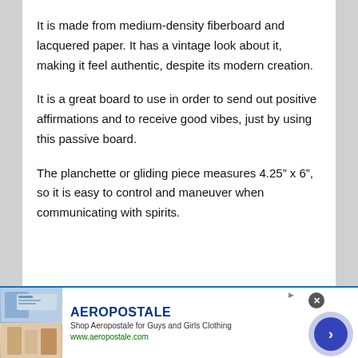It is made from medium-density fiberboard and lacquered paper. It has a vintage look about it, making it feel authentic, despite its modern creation.
It is a great board to use in order to send out positive affirmations and to receive good vibes, just by using this passive board.
The planchette or gliding piece measures 4.25” x 6”, so it is easy to control and maneuver when communicating with spirits.
[Figure (other): Aeropostale advertisement banner with brand images, logo, tagline 'Shop Aeropostale for Guys and Girls Clothing', URL www.aeropostale.com, and a navigation arrow button]